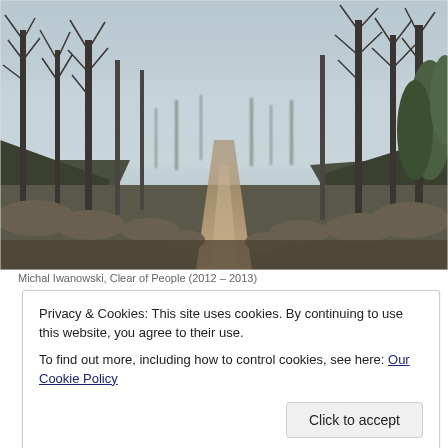[Figure (photo): A misty forest path or dirt track vanishing into the distance between bare deciduous trees and dense evergreen shrubs on either side, shot in overcast/foggy conditions. Landscape orientation.]
Michal Iwanowski, Clear of People (2012 – 2013)
Privacy & Cookies: This site uses cookies. By continuing to use this website, you agree to their use.
To find out more, including how to control cookies, see here: Our Cookie Policy
Click to accept